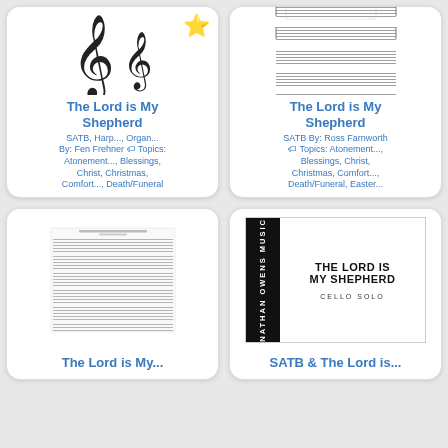[Figure (illustration): Card with two treble clef symbols and a gold star badge in top right corner]
The Lord is My Shepherd
SATB, Harp..., Organ... By: Fen Frehner Topics: Atonement..., Blessings, Christ, Christmas, Comfort..., Death/Funeral...
[Figure (illustration): Sheet music preview for The Lord is My Shepherd]
The Lord is My Shepherd
SATB By: Ross Farnworth Topics: Atonement..., Blessings, Christ, Christmas, Comfort..., Death/Funeral, Easter...
[Figure (illustration): Sheet music preview for The Lord is My Shepherd]
The Lord is My...
[Figure (illustration): Book cover: Nathan Owens Music - The Lord is My Shepherd, Cello Solo]
SATB & The Lord is...